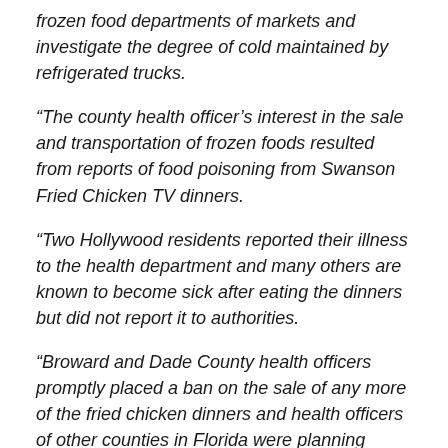frozen food departments of markets and investigate the degree of cold maintained by refrigerated trucks.
“The county health officer’s interest in the sale and transportation of frozen foods resulted from reports of food poisoning from Swanson Fried Chicken TV dinners.
“Two Hollywood residents reported their illness to the health department and many others are known to become sick after eating the dinners but did not report it to authorities.
“Broward and Dade County health officers promptly placed a ban on the sale of any more of the fried chicken dinners and health officers of other counties in Florida were planning similar action.
“However, officials of the C.A. Swanson Company flew to